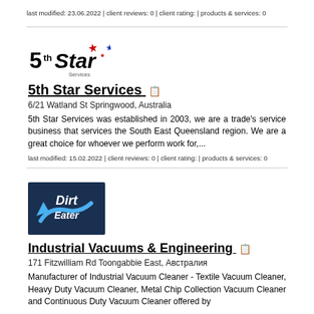last modified: 23.06.2022 | client reviews: 0 | client rating: | products & services: 0
[Figure (logo): 5th Star Services logo with star graphic]
5th Star Services
6/21 Watland St Springwood, Australia
5th Star Services was established in 2003, we are a trade's service business that services the South East Queensland region. We are a great choice for whoever we perform work for,...
last modified: 15.02.2022 | client reviews: 0 | client rating: | products & services: 0
[Figure (logo): Dirt Eater industrial vacuum logo on dark blue background]
Industrial Vacuums & Engineering
171 Fitzwilliam Rd Toongabbie East, Австралия
Manufacturer of Industrial Vacuum Cleaner - Textile Vacuum Cleaner, Heavy Duty Vacuum Cleaner, Metal Chip Collection Vacuum Cleaner and Continuous Duty Vacuum Cleaner offered by